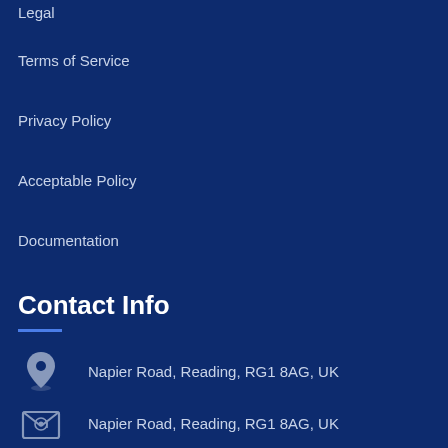Legal
Terms of Service
Privacy Policy
Acceptable Policy
Documentation
Contact Info
Napier Road, Reading, RG1 8AG, UK
Napier Road, Reading, RG1 8AG, UK